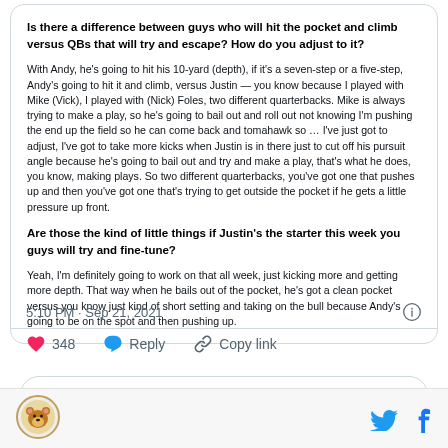Is there a difference between guys who will hit the pocket and climb versus QBs that will try and escape? How do you adjust to it?
With Andy, he's going to hit his 10-yard (depth), if it's a seven-step or a five-step, Andy's going to hit it and climb, versus Justin — you know because I played with Mike (Vick), I played with (Nick) Foles, two different quarterbacks. Mike is always trying to make a play, so he's going to bail out and roll out not knowing I'm pushing the end up the field so he can come back and tomahawk so … I've just got to adjust, I've got to take more kicks when Justin is in there just to cut off his pursuit angle because he's going to bail out and try and make a play, that's what he does, you know, making plays. So two different quarterbacks, you've got one that pushes up and then you've got one that's trying to get outside the pocket if he gets a little pressure up front.
Are those the kind of little things if Justin's the starter this week you guys will try and fine-tune?
Yeah, I'm definitely going to work on that all week, just kicking more and getting more depth. That way when he bails out of the pocket, he's got a clean pocket versus you know just kind of short setting and taking on the bull because Andy's going to be on the spot and then pushing up.
5:10 PM · Sep 21, 2021
348
Reply
Copy link
Read 10 replies